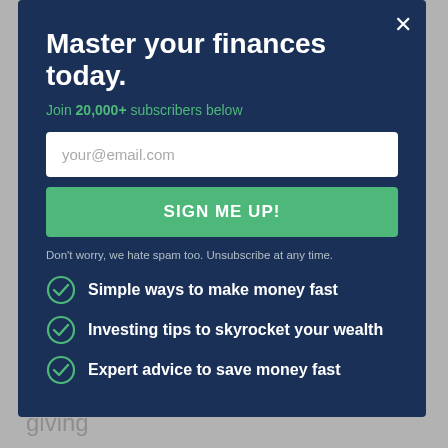anywhere from $100 to over $300.
Scaffolding is much easier to work on because of the larger amount of surface area, giving
Master your finances today.
Join 20,000+ subscribers below
your@email.com
SIGN ME UP!
Don't worry, we hate spam too. Unsubscribe at any time.
Simple ways to make money fast
Investing tips to skyrocket your wealth
Expert advice to save money fast